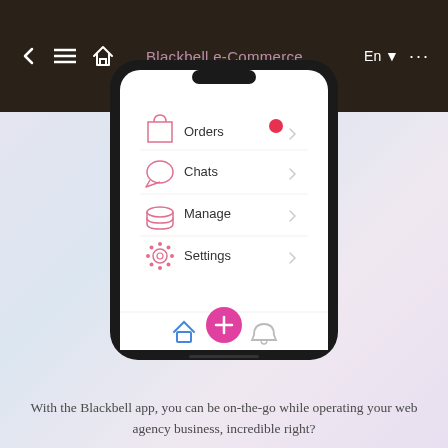[Figure (screenshot): Screenshot of a mobile app (Blackbell e-Commerce) showing a menu with items: Orders (with red notification badge), Chats, Manage, Settings — each with a right-arrow chevron. Bottom navigation bar shows home icon (blue), a pink plus/add button, and a bell icon. The phone is shown in a dark phone frame on a soft purple/lavender gradient background, overlaid on a dark header bar with back arrow, hamburger menu, home icon, 'Blackbell e-Commerce' title, 'En' language selector, and ellipsis menu.]
With the Blackbell app, you can be on-the-go while operating your web agency business, incredible right?